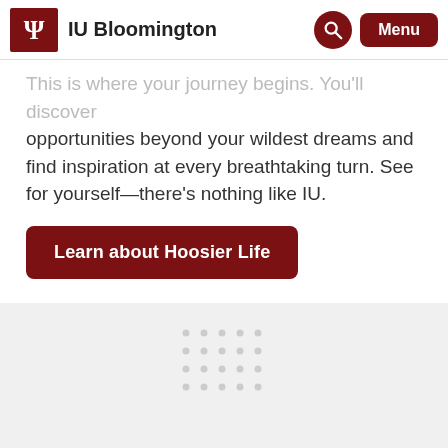IU Bloomington
This is where your journey begins. You'll discover opportunities beyond your wildest dreams and find inspiration at every breathtaking turn. See for yourself—there's nothing like IU.
Learn about Hoosier Life
[Figure (other): Decorative dot grid pattern on light gray background]
WE'RE ALWAYS IN YOUR CORNER